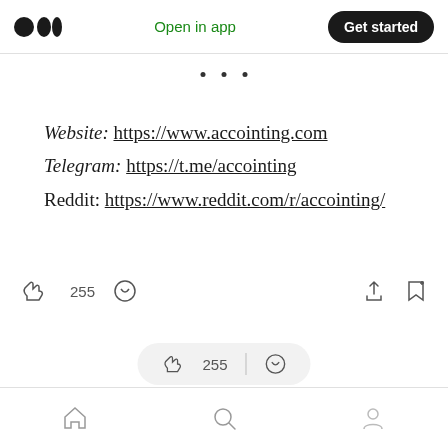Medium logo | Open in app | Get started
· · ·
Website: https://www.accointing.com
Telegram: https://t.me/accointing
Reddit: https://www.reddit.com/r/accointing/
👏 255  💬
🏠  🔍  👤